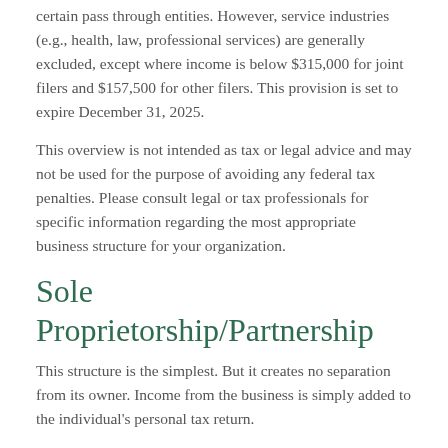certain pass through entities. However, service industries (e.g., health, law, professional services) are generally excluded, except where income is below $315,000 for joint filers and $157,500 for other filers. This provision is set to expire December 31, 2025.
This overview is not intended as tax or legal advice and may not be used for the purpose of avoiding any federal tax penalties. Please consult legal or tax professionals for specific information regarding the most appropriate business structure for your organization.
Sole Proprietorship/Partnership
This structure is the simplest. But it creates no separation from its owner. Income from the business is simply added to the individual’s personal tax return.
Advantages: Easy to set up and simple to maintain.
Disadvantages: Owners are personally liable for the